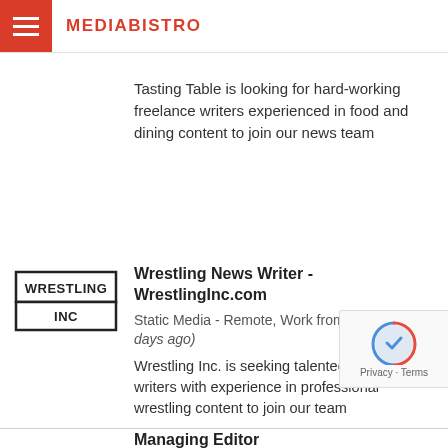MEDIABISTRO
Tasting Table is looking for hard-working freelance writers experienced in food and dining content to join our news team
Wrestling News Writer - WrestlingInc.com
Static Media - Remote, Work from USA (3 days ago)
Wrestling Inc. is seeking talented freelance writers with experience in professional wrestling content to join our team
Managing Editor